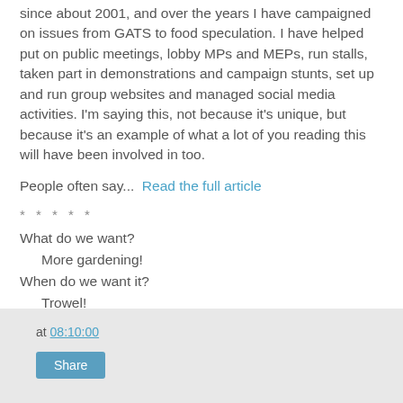since about 2001, and over the years I have campaigned on issues from GATS to food speculation. I have helped put on public meetings, lobby MPs and MEPs, run stalls, taken part in demonstrations and campaign stunts, set up and run group websites and managed social media activities. I'm saying this, not because it's unique, but because it's an example of what a lot of you reading this will have been involved in too.
People often say...  Read the full article
* * * * *
What do we want?
  More gardening!
When do we want it?
  Trowel!
at 08:10:00
Share